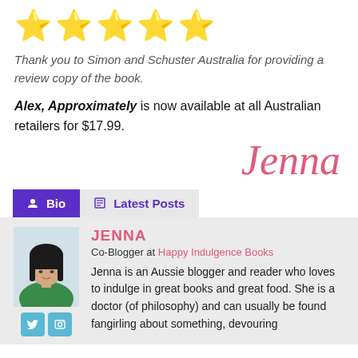[Figure (illustration): Five yellow star emoji rating icons in a row]
Thank you to Simon and Schuster Australia for providing a review copy of the book.
Alex, Approximately is now available at all Australian retailers for $17.99.
[Figure (illustration): Cursive script signature reading 'Jenna' in pink/rose color]
Bio  Latest Posts
[Figure (photo): Profile photo of Jenna, an Asian woman with black hair, wearing a green top]
JENNA
Co-Blogger at Happy Indulgence Books

Jenna is an Aussie blogger and reader who loves to indulge in great books and great food. She is a doctor (of philosophy) and can usually be found fangirling about something, devouring